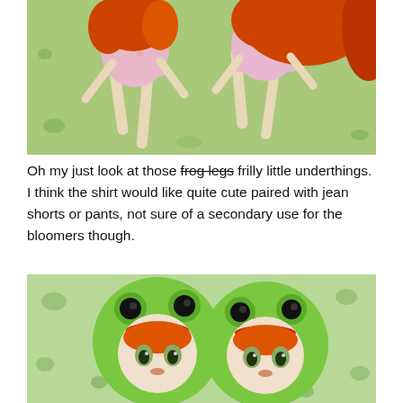[Figure (photo): Two dolls with long orange/red curly hair wearing pink floral outfits, seated on a green background with frog pattern.]
Oh my just look at those frog legs frilly little underthings. I think the shirt would like quite cute paired with jean shorts or pants, not sure of a secondary use for the bloomers though.
[Figure (photo): Two Pullip-style dolls with orange/red hair wearing green frog-shaped plush hoods with large eyes, against a green frog-pattern background.]